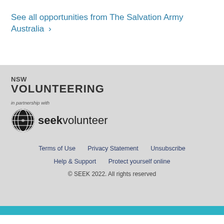See all opportunities from The Salvation Army Australia ›
[Figure (logo): NSW Volunteering logo with 'in partnership with seekvolunteer' text and SEEK Volunteer globe icon]
Terms of Use   Privacy Statement   Unsubscribe   Help & Support   Protect yourself online   © SEEK 2022. All rights reserved